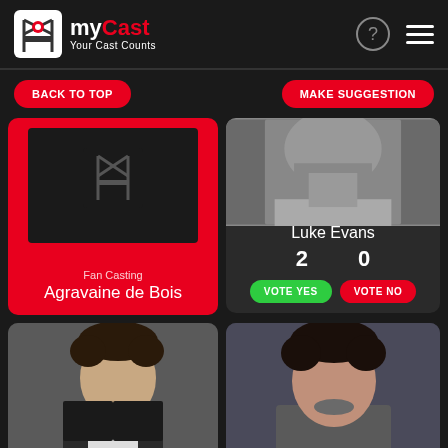[Figure (logo): myCast logo with director's chair icon and tagline 'Your Cast Counts']
BACK TO TOP
MAKE SUGGESTION
Fan Casting
Agravaine de Bois
[Figure (photo): Luke Evans actor headshot, partial view showing lower face and collar]
Luke Evans
2   0
VOTE YES
VOTE NO
[Figure (photo): Male actor with dark curly hair in a suit, Orlando Bloom style]
[Figure (photo): Male actor with dark hair in grey t-shirt, Henry Cavill style]